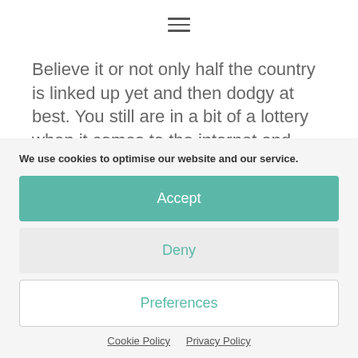[Figure (other): Hamburger menu icon (three horizontal lines)]
Believe it or not only half the country is linked up yet and then dodgy at best. You still are in a bit of a lottery when it comes to the internet and connection. Piracy is still in the good old days of someone taping it in a cinema and then flogging it next day on the
We use cookies to optimise our website and our service.
Accept
Deny
Preferences
Cookie Policy   Privacy Policy